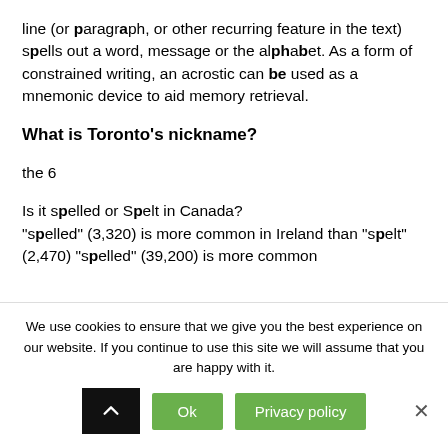line (or paragraph, or other recurring feature in the text) spells out a word, message or the alphabet. As a form of constrained writing, an acrostic can be used as a mnemonic device to aid memory retrieval.
What is Toronto's nickname?
the 6
Is it spelled or Spelt in Canada? "spelled" (3,320) is more common in Ireland than "spelt" (2,470) "spelled" (39,200) is more common in Canada than "spelt" (2,470) "spelled" is...
We use cookies to ensure that we give you the best experience on our website. If you continue to use this site we will assume that you are happy with it.